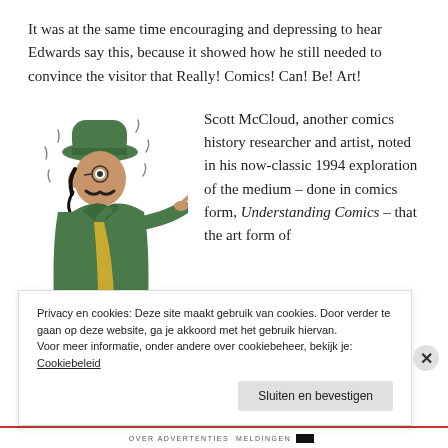It was at the same time encouraging and depressing to hear Edwards say this, because it showed how he still needed to convince the visitor that Really! Comics! Can! Be! Art!
[Figure (illustration): A cartoon illustration of a man wearing a green coat and hat, pointing with one finger, with motion lines around his head indicating surprise or agitation.]
Scott McCloud, another comics history researcher and artist, noted in his now-classic 1994 exploration of the medium – done in comics form, Understanding Comics – that the art form of
Privacy en cookies: Deze site maakt gebruik van cookies. Door verder te gaan op deze website, ga je akkoord met het gebruik hiervan.
Voor meer informatie, onder andere over cookiebeheer, bekijk je: Cookiebeleid
Sluiten en bevestigen